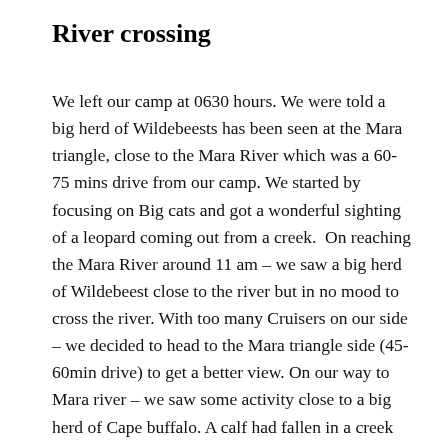River crossing
We left our camp at 0630 hours. We were told a big herd of Wildebeests has been seen at the Mara triangle, close to the Mara River which was a 60-75 mins drive from our camp. We started by focusing on Big cats and got a wonderful sighting of a leopard coming out from a creek.  On reaching the Mara River around 11 am – we saw a big herd of Wildebeest close to the river but in no mood to cross the river. With too many Cruisers on our side – we decided to head to the Mara triangle side (45-60min drive) to get a better view. On our way to Mara river – we saw some activity close to a big herd of Cape buffalo. A calf had fallen in a creek and was not able to come out whereas the mother was standing on the edge of the creek anxiously. The mother had taken an aggressive stance and was worried about predators. After 20-30 mins of drama – the mother